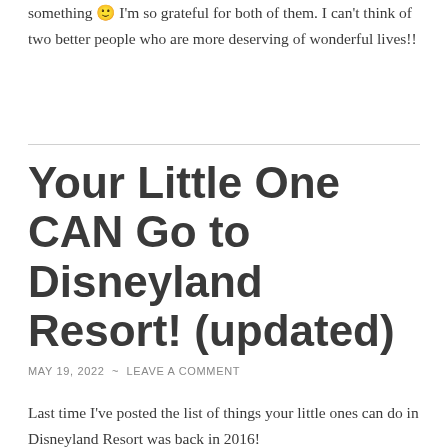something 🙂 I'm so grateful for both of them. I can't think of two better people who are more deserving of wonderful lives!!
Your Little One CAN Go to Disneyland Resort! (updated)
MAY 19, 2022 ~ LEAVE A COMMENT
Last time I've posted the list of things your little ones can do in Disneyland Resort was back in 2016!